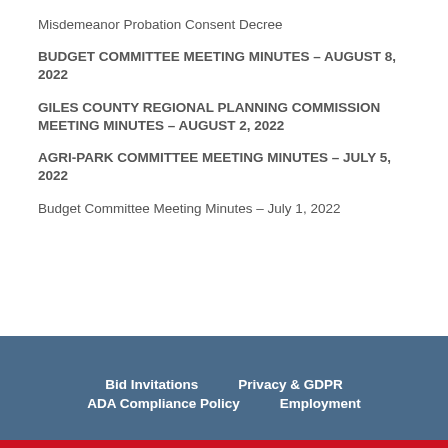Misdemeanor Probation Consent Decree
BUDGET COMMITTEE MEETING MINUTES – AUGUST 8, 2022
GILES COUNTY REGIONAL PLANNING COMMISSION MEETING MINUTES – AUGUST 2, 2022
AGRI-PARK COMMITTEE MEETING MINUTES – JULY 5, 2022
Budget Committee Meeting Minutes – July 1, 2022
Bid Invitations   Privacy & GDPR   ADA Compliance Policy   Employment